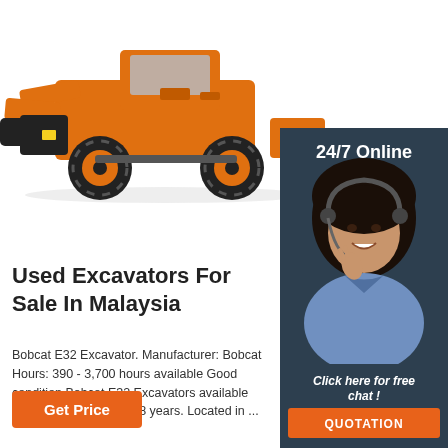[Figure (photo): Orange heavy construction wheel loader / excavator photographed from the side-front, showing large black tires and orange body with bucket in front]
[Figure (photo): 24/7 Online customer service agent — woman with headset smiling, with dark background panel. Includes 'Click here for free chat!' text and orange QUOTATION button.]
Used Excavators For Sale In Malaysia
Bobcat E32 Excavator. Manufacturer: Bobcat Hours: 390 - 3,700 hours available Good condition Bobcat E32 Excavators available between 2009 and 2018 years. Located in ...
Get Price